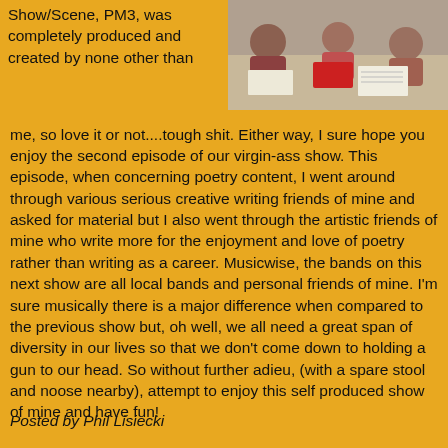Show/Scene, PM3, was completely produced and created by none other than me, so love it or not....tough shit. Either way, I sure hope you enjoy the second episode of our virgin-ass show. This episode, when concerning poetry content, I went around through various serious creative writing friends of mine and asked for material but I also went through the artistic friends of mine who write more for the enjoyment and love of poetry rather than writing as a career. Musicwise, the bands on this next show are all local bands and personal friends of mine. I'm sure musically there is a major difference when compared to the previous show but, oh well, we all need a great span of diversity in our lives so that we don't come down to holding a gun to our head. So without further adieu, (with a spare stool and noose nearby), attempt to enjoy this self produced show of mine and have fun!
[Figure (photo): Photo of people sitting around a table with papers and a red box, appears to be a group working session or meeting]
Posted by Phil Lisiecki